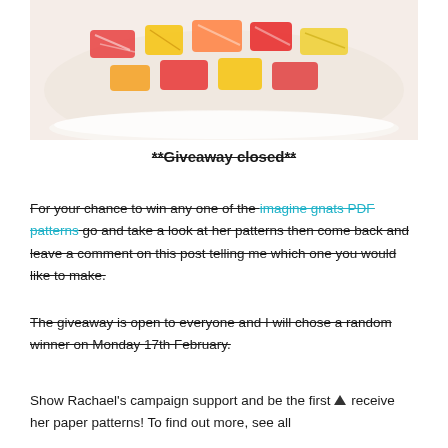[Figure (photo): Photo of colorful craft items in a white bowl, showing red, yellow and patterned pieces]
**Giveaway closed**
For your chance to win any one of the imagine gnats PDF patterns go and take a look at her patterns then come back and leave a comment on this post telling me which one you would like to make.
The giveaway is open to everyone and I will chose a random winner on Monday 17th February.
Show Rachael's campaign support and be the first to receive her paper patterns! To find out more, see all